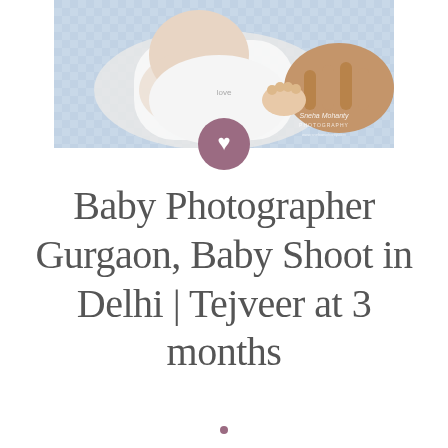[Figure (photo): A baby wearing a white onesie lying down, with an adult hand gently holding the baby's feet. Light blue checkered fabric in background. Watermark reading 'Sneha Mohanty PHOTOGRAPHY' visible in bottom right corner.]
Baby Photographer Gurgaon, Baby Shoot in Delhi | Tejveer at 3 months